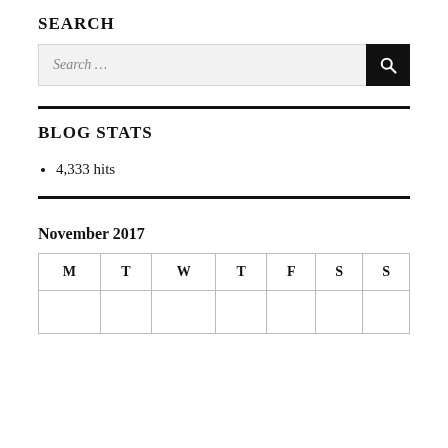SEARCH
[Figure (other): Search input box with placeholder text 'Search ...' and a black search button with magnifying glass icon]
BLOG STATS
4,333 hits
November 2017
| M | T | W | T | F | S | S |
| --- | --- | --- | --- | --- | --- | --- |
|  |  |  |  |  |  |  |